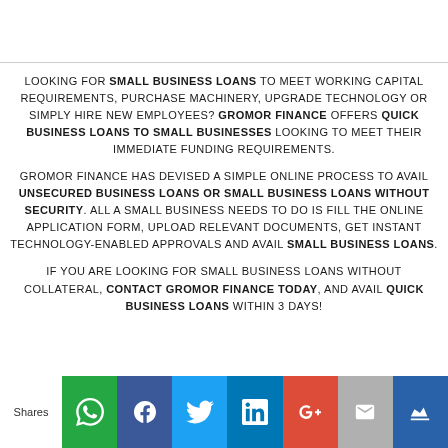LOOKING FOR SMALL BUSINESS LOANS TO MEET WORKING CAPITAL REQUIREMENTS, PURCHASE MACHINERY, UPGRADE TECHNOLOGY OR SIMPLY HIRE NEW EMPLOYEES? GROMOR FINANCE OFFERS QUICK BUSINESS LOANS TO SMALL BUSINESSES LOOKING TO MEET THEIR IMMEDIATE FUNDING REQUIREMENTS.
GROMOR FINANCE HAS DEVISED A SIMPLE ONLINE PROCESS TO AVAIL UNSECURED BUSINESS LOANS OR SMALL BUSINESS LOANS WITHOUT SECURITY. ALL A SMALL BUSINESS NEEDS TO DO IS FILL THE ONLINE APPLICATION FORM, UPLOAD RELEVANT DOCUMENTS, GET INSTANT TECHNOLOGY-ENABLED APPROVALS AND AVAIL SMALL BUSINESS LOANS.
IF YOU ARE LOOKING FOR SMALL BUSINESS LOANS WITHOUT COLLATERAL, CONTACT GROMOR FINANCE TODAY, AND AVAIL QUICK BUSINESS LOANS WITHIN 3 DAYS!